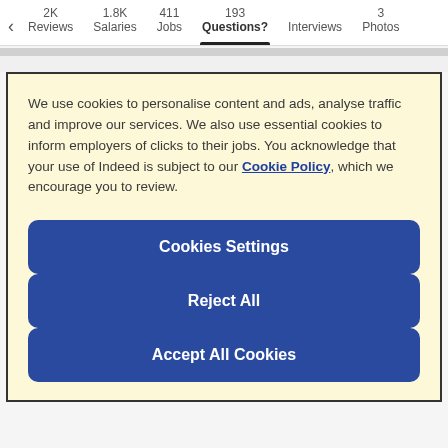2K Reviews  1.8K Salaries  411 Jobs  193 Questions?  Interviews  3 Photos
We use cookies to personalise content and ads, analyse traffic and improve our services. We also use essential cookies to inform employers of clicks to their jobs. You acknowledge that your use of Indeed is subject to our Cookie Policy, which we encourage you to review.
Cookies Settings
Reject All
Accept All Cookies